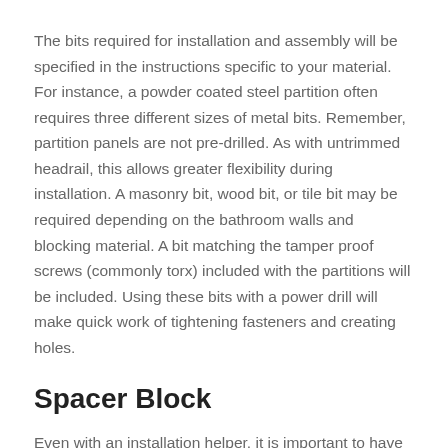The bits required for installation and assembly will be specified in the instructions specific to your material. For instance, a powder coated steel partition often requires three different sizes of metal bits. Remember, partition panels are not pre-drilled. As with untrimmed headrail, this allows greater flexibility during installation. A masonry bit, wood bit, or tile bit may be required depending on the bathroom walls and blocking material. A bit matching the tamper proof screws (commonly torx) included with the partitions will be included. Using these bits with a power drill will make quick work of tightening fasteners and creating holes.
Spacer Block
Even with an installation helper, it is important to have a ~14″ spacer available to help support doors and panels after they've been positioned, while they are being drilled and attached to the